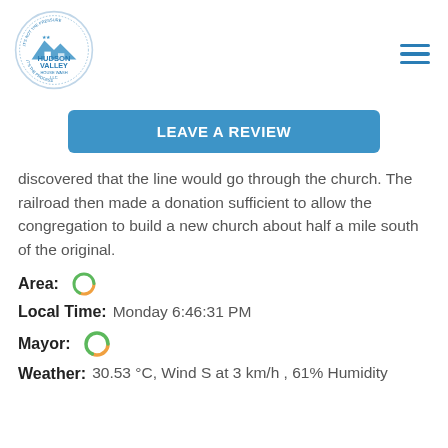[Figure (logo): Hudson Valley House Wash LLC circular logo with blue house/mountain graphic and text 'IT'S NOT THE PRESSURE / IT'S THE PROCESS']
LEAVE A REVIEW
discovered that the line would go through the church. The railroad then made a donation sufficient to allow the congregation to build a new church about half a mile south of the original.
Area: [loading spinner]
Local Time: Monday 6:46:31 PM
Mayor: [loading spinner]
Weather: 30.53 °C, Wind S at 3 km/h , 61% Humidity